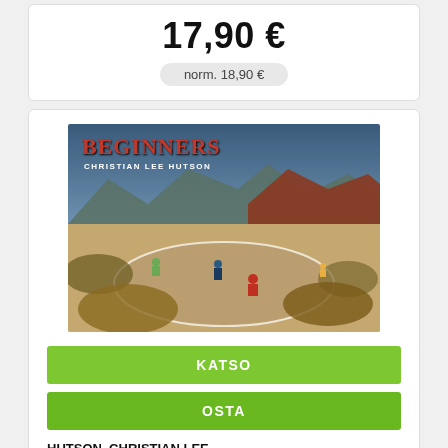17,90 €
norm. 18,90 €
[Figure (photo): Album cover for 'Beginners' by Christian Lee Hutson. Shows people on bicycles on a circular road/track surrounded by colorful landscape with mountains and hills. Title 'BEGINNERS' in red text and 'CHRISTIAN LEE HUTSON' in white below it.]
KATSO
OSTA
HUTSON, CHRISTIAN LEE - BEGINNERS CD